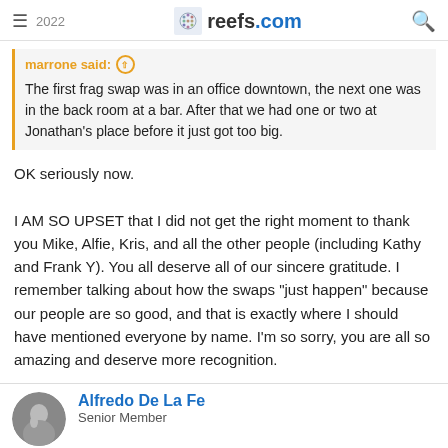≡ 2022 | reefs.com | 🔍
marrone said: ↑
The first frag swap was in an office downtown, the next one was in the back room at a bar. After that we had one or two at Jonathan's place before it just got too big.
OK seriously now.

I AM SO UPSET that I did not get the right moment to thank you Mike, Alfie, Kris, and all the other people (including Kathy and Frank Y). You all deserve all of our sincere gratitude. I remember talking about how the swaps "just happen" because our people are so good, and that is exactly where I should have mentioned everyone by name. I'm so sorry, you are all so amazing and deserve more recognition.
Alfredo De La Fe
Senior Member